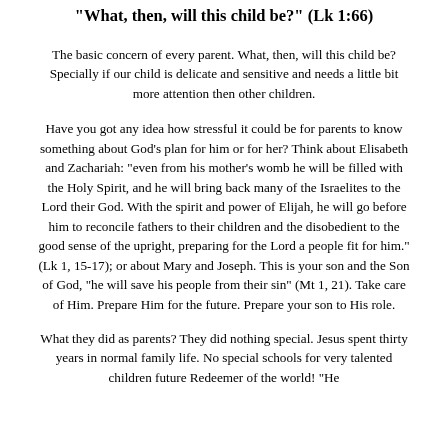"What, then, will this child be?" (Lk 1:66)
The basic concern of every parent. What, then, will this child be? Specially if our child is delicate and sensitive and needs a little bit more attention then other children.
Have you got any idea how stressful it could be for parents to know something about God’s plan for him or for her? Think about Elisabeth and Zachariah: “even from his mother’s womb he will be filled with the Holy Spirit, and he will bring back many of the Israelites to the Lord their God. With the spirit and power of Elijah, he will go before him to reconcile fathers to their children and the disobedient to the good sense of the upright, preparing for the Lord a people fit for him.” (Lk 1, 15-17); or about Mary and Joseph. This is your son and the Son of God, “he will save his people from their sin” (Mt 1, 21). Take care of Him. Prepare Him for the future. Prepare your son to His role.
What they did as parents? They did nothing special. Jesus spent thirty years in normal family life. No special schools for very talented children future Redeemer of the world! “He